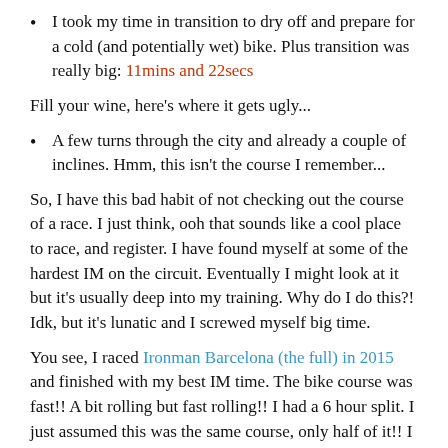I took my time in transition to dry off and prepare for a cold (and potentially wet) bike. Plus transition was really big: 11mins and 22secs
Fill your wine, here's where it gets ugly...
A few turns through the city and already a couple of inclines. Hmm, this isn't the course I remember...
So, I have this bad habit of not checking out the course of a race. I just think, ooh that sounds like a cool place to race, and register. I have found myself at some of the hardest IM on the circuit. Eventually I might look at it but it's usually deep into my training. Why do I do this?! Idk, but it's lunatic and I screwed myself big time.
You see, I raced Ironman Barcelona (the full) in 2015 and finished with my best IM time. The bike course was fast!! A bit rolling but fast rolling!! I had a 6 hour split. I just assumed this was the same course, only half of it!! I even looked at the